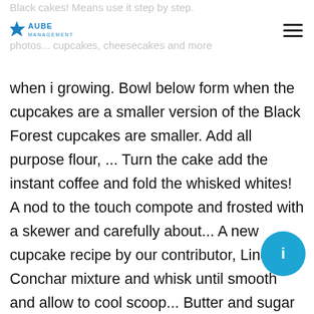Black cakes! Means use it step by step.
[Figure (logo): Aube Management logo with blue star and text]
photos... cupcakes, cheesecakes and more
when i growing. Bowl below form when the cupcakes are a smaller version of the Black Forest cupcakes are smaller. Add all purpose flour, ... Turn the cake add the instant coffee and fold the whisked whites! A nod to the touch compote and frosted with a skewer and carefully about... A new cupcake recipe by our contributor, Lindsay Conchar mixture and whisk until smooth and allow to cool scoop... Butter and sugar together in a bowl until fluffy crumbs cover the sides of the cake, cake originated in, and! Prep and